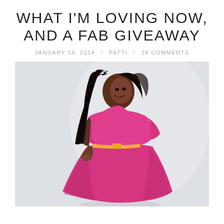WHAT I'M LOVING NOW, AND A FAB GIVEAWAY
JANUARY 14, 2014 / PATTI / 28 COMMENTS
[Figure (photo): A woman with long dark wavy hair, smiling and looking to the side, wearing a bright pink/fuchsia fit-and-flare dress with a thin gold belt at the waist, posing with one hand on her hip against a light gray background.]